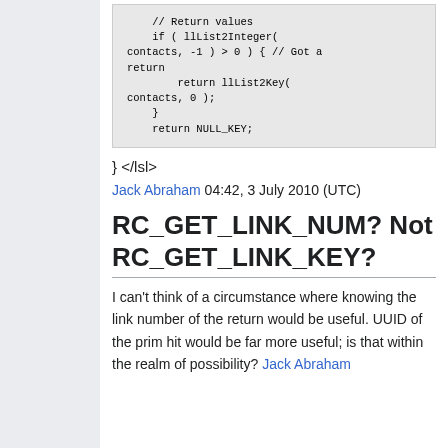[Figure (screenshot): Code block showing LSL code snippet with return values, llList2Integer and llList2Key calls]
} </lsl>
Jack Abraham 04:42, 3 July 2010 (UTC)
RC_GET_LINK_NUM? Not RC_GET_LINK_KEY?
I can't think of a circumstance where knowing the link number of the return would be useful. UUID of the prim hit would be far more useful; is that within the realm of possibility? Jack Abraham